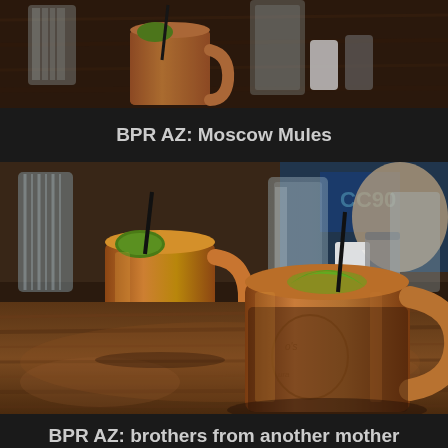[Figure (photo): Top portion of a photo showing copper Moscow Mule mugs and glasses on a wooden bar table, cropped to show only the upper portion]
BPR AZ: Moscow Mules
[Figure (photo): Two copper Moscow Mule mugs on a wooden bar table, garnished with lime wedges and black straws. Various glasses and condiments visible in the background with people sitting at the bar.]
BPR AZ: brothers from another mother and Moscow Mules